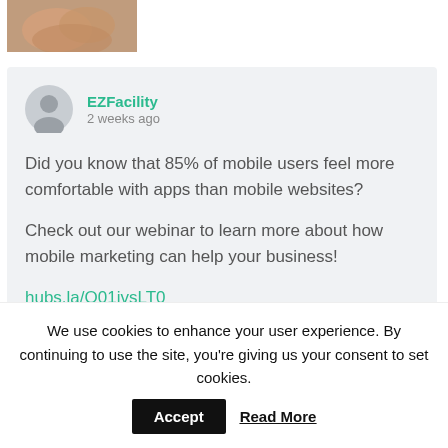[Figure (photo): A small thumbnail photo showing hands, cropped at the top of the page.]
EZFacility
2 weeks ago

Did you know that 85% of mobile users feel more comfortable with apps than mobile websites?

Check out our webinar to learn more about how mobile marketing can help your business!

hubs.la/Q01jvsLT0
We use cookies to enhance your user experience. By continuing to use the site, you're giving us your consent to set cookies.
Accept   Read More